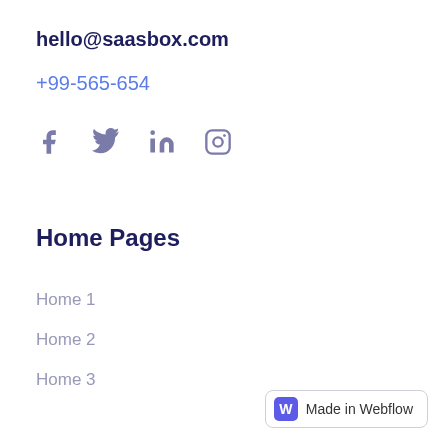hello@saasbox.com
+99-565-654
[Figure (other): Social media icons: Facebook, Twitter, LinkedIn, Instagram]
Home Pages
Home 1
Home 2
Home 3
Made in Webflow